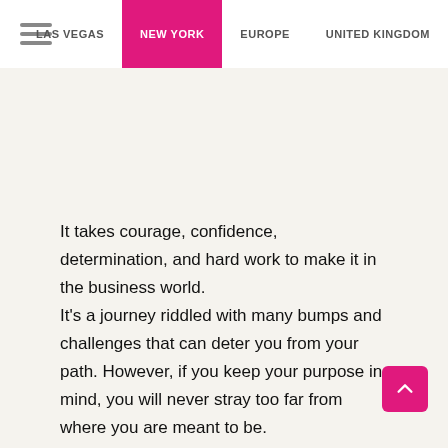LAS VEGAS  NEW YORK  EUROPE  UNITED KINGDOM
It takes courage, confidence, determination, and hard work to make it in the business world. It's a journey riddled with many bumps and challenges that can deter you from your path. However, if you keep your purpose in mind, you will never stray too far from where you are meant to be.

Join me for an interactive experience as we discover the importance of keeping your...